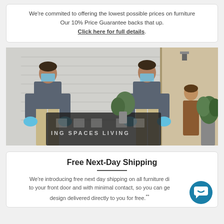We're commited to offering the lowest possible prices on furniture Our 10% Price Guarantee backs that up. Click here for full details.
[Figure (photo): Two delivery workers wearing blue gloves and face masks carrying a wrapped furniture item (with Living Spaces branding visible) to a customer standing at her front door, with outdoor plants visible.]
Free Next-Day Shipping
We're introducing free next day shipping on all furniture directly to your front door and with minimal contact, so you can get the design delivered directly to you for free.**